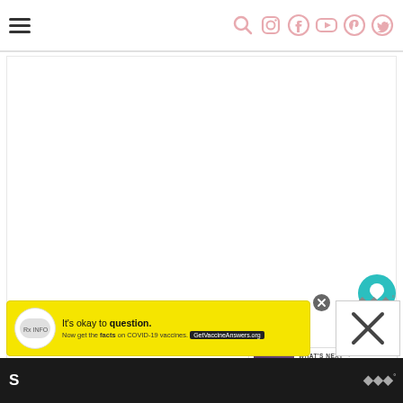Navigation header with hamburger menu and social media icons (search, Instagram, Facebook, YouTube, Pinterest, Twitter)
[Figure (screenshot): Large white content area representing a webpage article body]
[Figure (infographic): Floating heart action button (teal) with count 101 and share button below]
101
[Figure (screenshot): What's Next panel showing thumbnail of crochet item and text 'WHAT'S NEXT → Toddler Crochet...']
WHAT'S NEXT → Toddler Crochet...
[Figure (screenshot): Yellow advertisement banner: It's okay to question. Now get the facts on COVID-19 vaccines. GetVaccineAnswers.org]
It's okay to question. Now get the facts on COVID-19 vaccines. GetVaccineAnswers.org
S (partial bottom black bar visible)